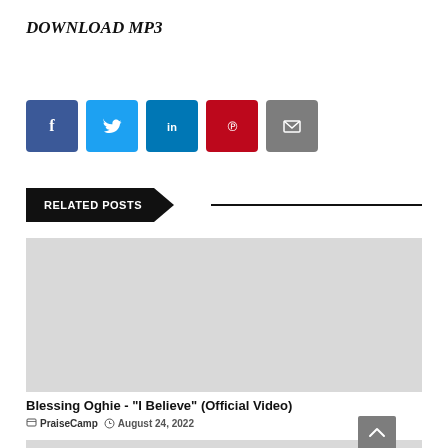DOWNLOAD MP3
[Figure (infographic): Row of 5 social share buttons: Facebook (blue), Twitter (light blue), LinkedIn (blue), Pinterest (red), Email (gray)]
RELATED POSTS
[Figure (photo): Gray placeholder thumbnail image for related post]
Blessing Oghie - "I Believe" (Official Video)
PraiseCamp  August 24, 2022
[Figure (photo): Gray placeholder thumbnail image for second related post, partially visible at bottom]